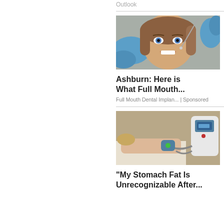Outlook
[Figure (photo): Young woman smiling at the dentist with dental tools and blue-gloved hands near her mouth]
Ashburn: Here is What Full Mouth...
Full Mouth Dental Implan... | Sponsored
[Figure (photo): Person lying on treatment table with cryolipolysis/body sculpting machine device applied to their stomach area]
"My Stomach Fat Is Unrecognizable After...